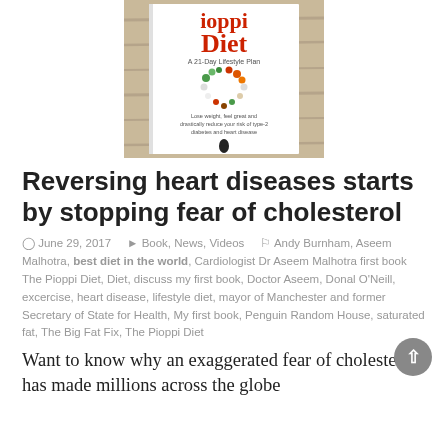[Figure (photo): Book cover of the Pioppi Diet: A 21-Day Lifestyle Plan, showing the title in red and black text, a heart shape made of food images, and subtitle text 'Lose weight, feel great and drastically reduce your risk of type-2 diabetes and heart disease', with Penguin logo at bottom.]
Reversing heart diseases starts by stopping fear of cholesterol
June 29, 2017   Book, News, Videos   Andy Burnham, Aseem Malhotra, best diet in the world, Cardiologist Dr Aseem Malhotra first book The Pioppi Diet, Diet, discuss my first book, Doctor Aseem, Donal O'Neill, excercise, heart disease, lifestyle diet, mayor of Manchester and former Secretary of State for Health, My first book, Penguin Random House, saturated fat, The Big Fat Fix, The Pioppi Diet
Want to know why an exaggerated fear of cholesterol has made millions across the globe fear and drink...